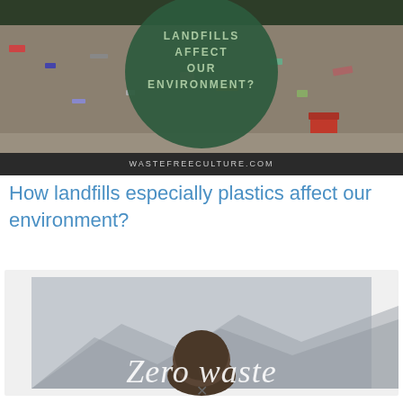[Figure (photo): Photo of a landfill/garbage dump with a dark green circular overlay text reading 'LANDFILLS AFFECT OUR ENVIRONMENT?' and website text 'WASTEFREECULTURE.COM' at the bottom of the image.]
How landfills especially plastics affect our environment?
[Figure (photo): A misty/foggy photo of a person (seen from behind) with mountains in the background and large white cursive text reading 'Zero waste' overlaid on the image. The image has a light gray border/frame around it.]